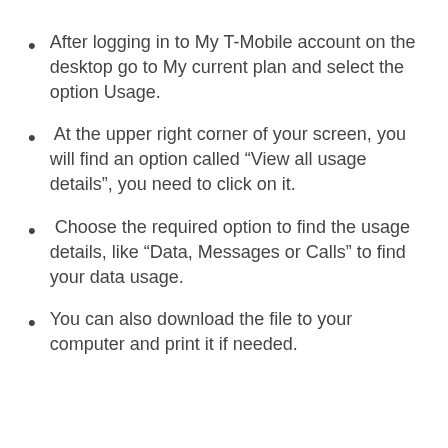After logging in to My T-Mobile account on the desktop go to My current plan and select the option Usage.
At the upper right corner of your screen, you will find an option called “View all usage details”, you need to click on it.
Choose the required option to find the usage details, like “Data, Messages or Calls” to find your data usage.
You can also download the file to your computer and print it if needed.